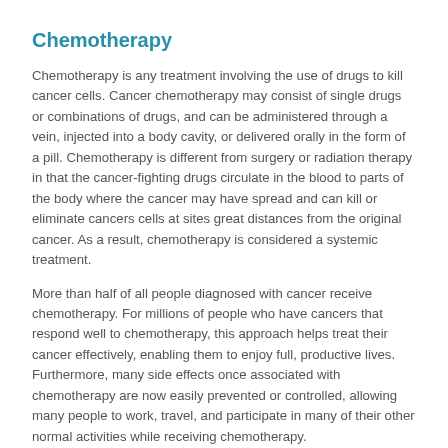Chemotherapy
Chemotherapy is any treatment involving the use of drugs to kill cancer cells. Cancer chemotherapy may consist of single drugs or combinations of drugs, and can be administered through a vein, injected into a body cavity, or delivered orally in the form of a pill. Chemotherapy is different from surgery or radiation therapy in that the cancer-fighting drugs circulate in the blood to parts of the body where the cancer may have spread and can kill or eliminate cancers cells at sites great distances from the original cancer. As a result, chemotherapy is considered a systemic treatment.
More than half of all people diagnosed with cancer receive chemotherapy. For millions of people who have cancers that respond well to chemotherapy, this approach helps treat their cancer effectively, enabling them to enjoy full, productive lives. Furthermore, many side effects once associated with chemotherapy are now easily prevented or controlled, allowing many people to work, travel, and participate in many of their other normal activities while receiving chemotherapy.
Learn more about chemotherapy